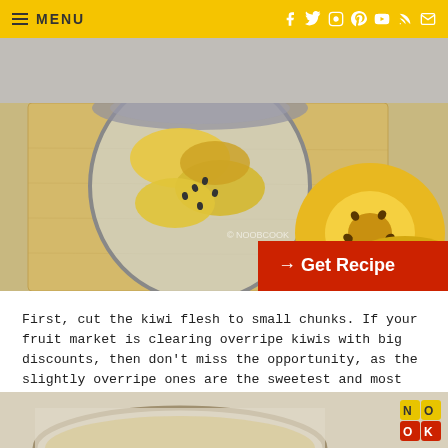MENU
[Figure (photo): Overhead view of yellow kiwi chunks in a glass jar on a wooden cutting board, with halved golden kiwi fruits beside it. Watermark reads © NOOBCOOK. A red button overlay reads '→ Get Recipe'.]
First, cut the kiwi flesh to small chunks. If your fruit market is clearing overripe kiwis with big discounts, then don't miss the opportunity, as the slightly overripe ones are the sweetest and most perfect for smoothies.
[Figure (photo): Partial view of a blender or bowl with smoothie mixture, with NookCook logo in corner.]